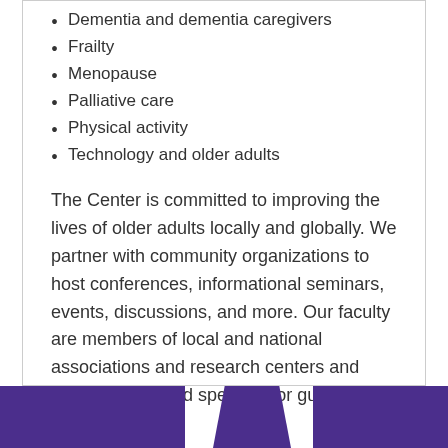Dementia and dementia caregivers
Frailty
Menopause
Palliative care
Physical activity
Technology and older adults
The Center is committed to improving the lives of older adults locally and globally. We partner with community organizations to host conferences, informational seminars, events, discussions, and more. Our faculty are members of local and national associations and research centers and often are featured speakers or guest lecturers.
[Figure (illustration): Three purple rectangular/trapezoidal banner shapes at the bottom of the page forming a decorative footer strip.]